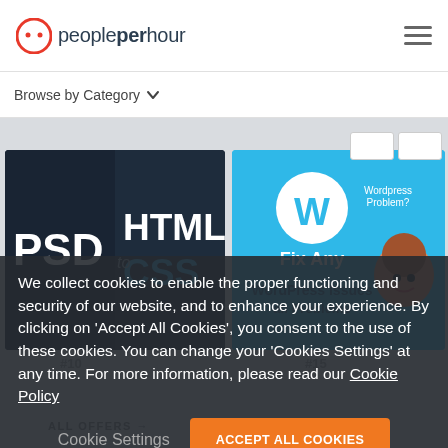peopleperhour
Browse by Category
[Figure (screenshot): PSD to HTML CSS freelancer offer card on dark background]
[Figure (screenshot): Fix Any WordPress Issues freelancer offer card on blue background with WordPress logo and cartoon person]
We collect cookies to enable the proper functioning and security of our website, and to enhance your experience. By clicking on 'Accept All Cookies', you consent to the use of these cookies. You can change your 'Cookies Settings' at any time. For more information, please read our Cookie Policy
Cookie Settings
ACCEPT ALL COOKIES